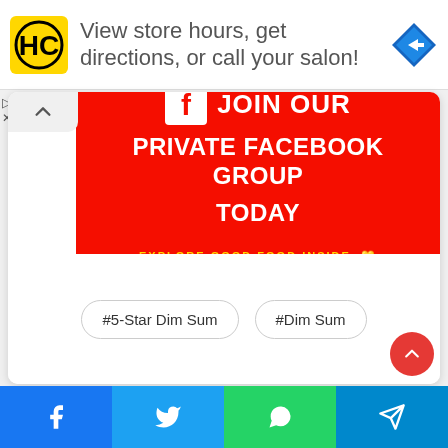[Figure (infographic): Ad banner with HC logo, text 'View store hours, get directions, or call your salon!' and a navigation diamond icon]
[Figure (infographic): Red Facebook banner with Facebook icon and text: JOIN OUR PRIVATE FACEBOOK GROUP TODAY, EXPLORE GOOD FOOD INSIDE with yellow heart]
#5-Star Dim Sum
#Dim Sum
[Figure (infographic): Bottom share bar with Facebook, Twitter, WhatsApp, and Telegram icons]